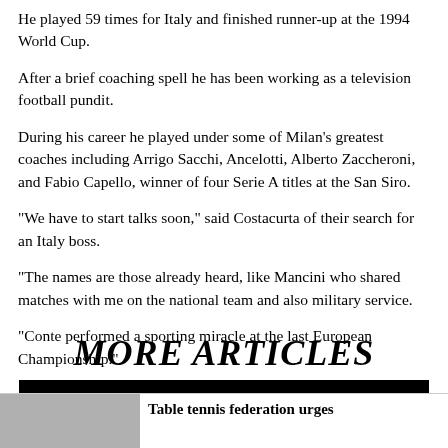He played 59 times for Italy and finished runner-up at the 1994 World Cup.
After a brief coaching spell he has been working as a television football pundit.
During his career he played under some of Milan's greatest coaches including Arrigo Sacchi, Ancelotti, Alberto Zaccheroni, and Fabio Capello, winner of four Serie A titles at the San Siro.
“We have to start talks soon,” said Costacurta of their search for an Italy boss.
“The names are those already heard, like Mancini who shared matches with me on the national team and also military service.
“Conte performed a sporting miracle at the last European Championship.”
MORE ARTICLES
[Figure (photo): Thumbnail image at bottom left]
Table tennis federation urges